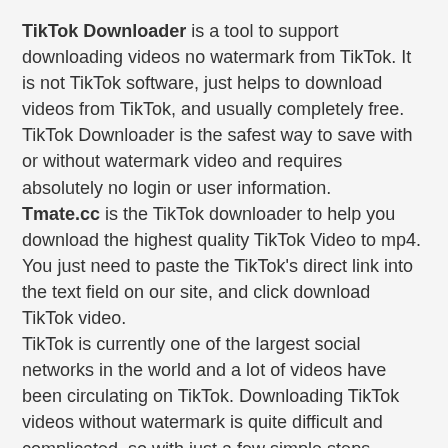TikTok Downloader is a tool to support downloading videos no watermark from TikTok. It is not TikTok software, just helps to download videos from TikTok, and usually completely free. TikTok Downloader is the safest way to save with or without watermark video and requires absolutely no login or user information. Tmate.cc is the TikTok downloader to help you download the highest quality TikTok Video to mp4. You just need to paste the TikTok's direct link into the text field on our site, and click download TikTok video.
TikTok is currently one of the largest social networks in the world and a lot of videos have been circulating on TikTok. Downloading TikTok videos without watermark is quite difficult and complicated, so with just a few simple steps, TikTok video downloader - Tmate is made for you to easily TikTok video no watermark download.
How to use Tmate to download TikTok Video (TikTok